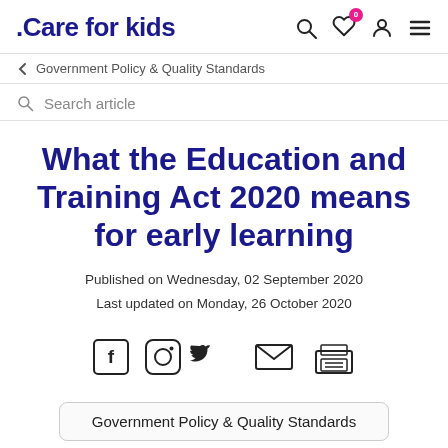Care for kids
Government Policy & Quality Standards
Search article
What the Education and Training Act 2020 means for early learning
Published on Wednesday, 02 September 2020
Last updated on Monday, 26 October 2020
[Figure (infographic): Social sharing icons: Facebook, Instagram, Twitter, Email, Print]
Government Policy & Quality Standards